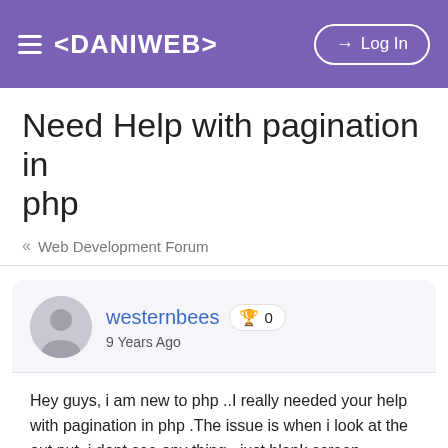≡ <DANIWEB>    → Log In
Need Help with pagination in php
« Web Development Forum
westernbees 🏆 0
9 Years Ago
Hey guys, i am new to php ..I really needed your help with pagination in php .The issue is when i look at the out put, i dont see any thing.. just blank screen. Database and other details are correct. I rechecked it
Here is my code :